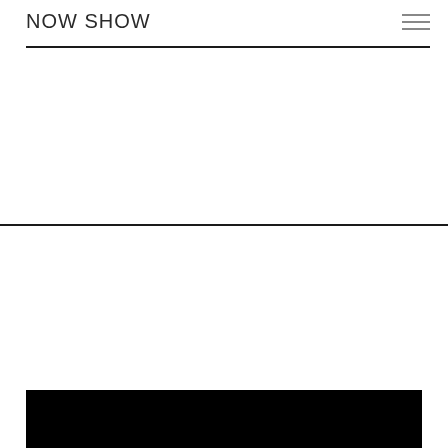NOW SHOW
[Figure (other): Large white empty area in upper half of page]
[Figure (other): Red horizontal line decorative element in lower half]
[Figure (other): Black rectangular bar at the bottom of the page]